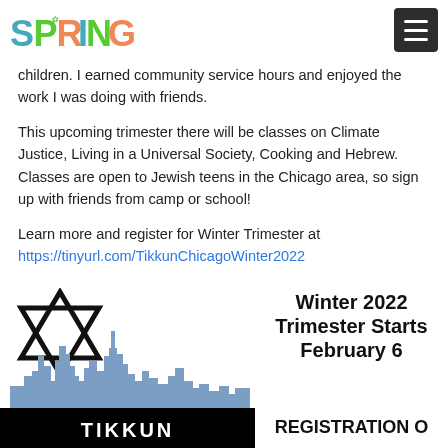SPRINGBOARD
children. I earned community service hours and enjoyed the work I was doing with friends.
This upcoming trimester there will be classes on Climate Justice, Living in a Universal Society, Cooking and Hebrew. Classes are open to Jewish teens in the Chicago area, so sign up with friends from camp or school!
Learn more and register for Winter Trimester at https://tinyurl.com/TikkunChicagoWinter2022
[Figure (logo): Tikkun Chicago logo with Star of David and city skyline silhouette with TIKKUN text on black bar]
Winter 2022 Trimester Starts February 6
REGISTRATION O